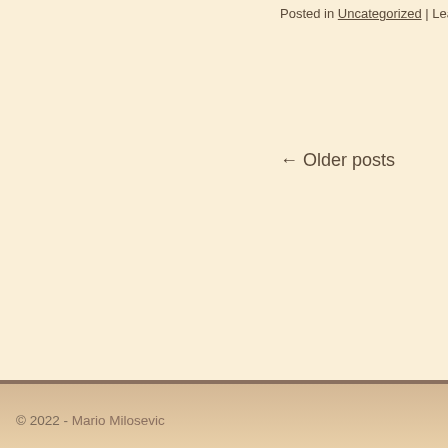Posted in Uncategorized | Leave a c
← Older posts
© 2022 - Mario Milosevic